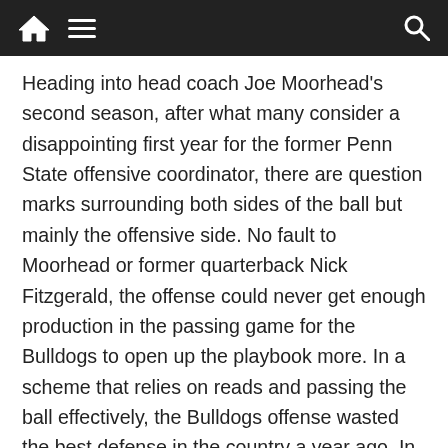[Navigation bar with home, menu, and search icons]
Heading into head coach Joe Moorhead's second season, after what many consider a disappointing first year for the former Penn State offensive coordinator, there are question marks surrounding both sides of the ball but mainly the offensive side. No fault to Moorhead or former quarterback Nick Fitzgerald, the offense could never get enough production in the passing game for the Bulldogs to open up the playbook more. In a scheme that relies on reads and passing the ball effectively, the Bulldogs offense wasted the best defense in the country a year ago. In hopes to not have another disappointing season on offense, Coach Moorhead went into the transfer portal and came out on the other side with a quarterback that played for him at Penn State. It's hard to determine at this stage